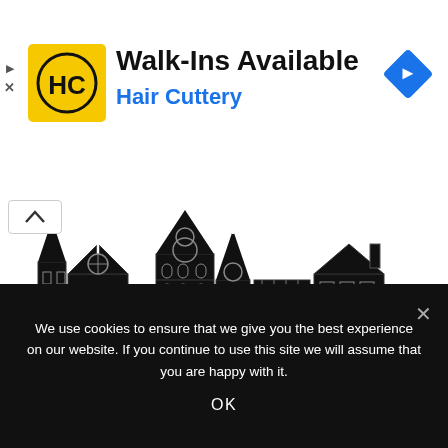[Figure (logo): Hair Cuttery advertisement banner with HC logo (yellow circle with HC letters), text 'Walk-Ins Available' and 'Hair Cuttery' in blue, with a Google Maps navigation icon in blue diamond shape on the right]
[Figure (illustration): The Charleston Skyline illustration - black silhouette of Charleston SC skyline showing churches, steeples, historic buildings and fountain]
The Charleston Skyline_by iconsgraph.jpg
We use cookies to ensure that we give you the best experience on our website. If you continue to use this site we will assume that you are happy with it.
OK